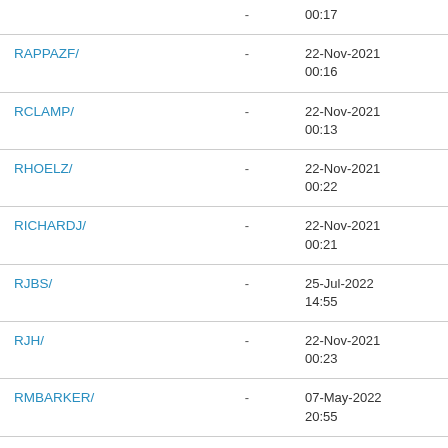| Name |  | Date |
| --- | --- | --- |
|  | - | 00:17 |
| RAPPAZF/ | - | 22-Nov-2021
00:16 |
| RCLAMP/ | - | 22-Nov-2021
00:13 |
| RHOELZ/ | - | 22-Nov-2021
00:22 |
| RICHARDJ/ | - | 22-Nov-2021
00:21 |
| RJBS/ | - | 25-Jul-2022
14:55 |
| RJH/ | - | 22-Nov-2021
00:23 |
| RMBARKER/ | - | 07-May-2022
20:55 |
| RRA/ | - | 28-Jun-2022
03:54 |
| RRWO/ | - | 29-Jul-2022 |